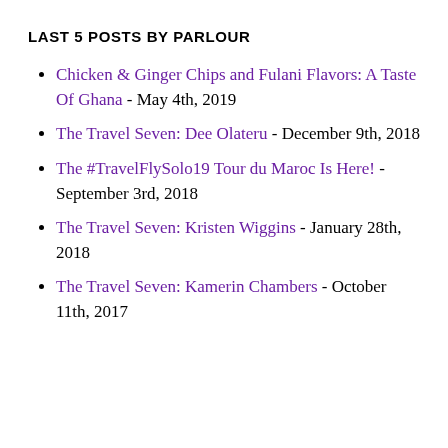LAST 5 POSTS BY PARLOUR
Chicken & Ginger Chips and Fulani Flavors: A Taste Of Ghana - May 4th, 2019
The Travel Seven: Dee Olateru - December 9th, 2018
The #TravelFlySolo19 Tour du Maroc Is Here! - September 3rd, 2018
The Travel Seven: Kristen Wiggins - January 28th, 2018
The Travel Seven: Kamerin Chambers - October 11th, 2017